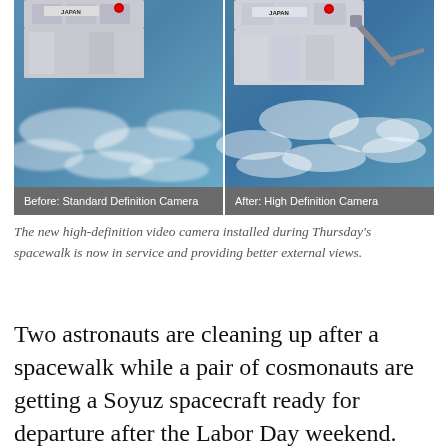[Figure (photo): Side-by-side comparison of ISS external camera footage. Left panel labeled 'Before: Standard Definition Camera' shows a low-resolution view of the ISS structure with Earth below. Right panel labeled 'After: High Definition Camera' shows the same scene in higher resolution with more detail.]
The new high-definition video camera installed during Thursday's spacewalk is now in service and providing better external views.
Two astronauts are cleaning up after a spacewalk while a pair of cosmonauts are getting a Soyuz spacecraft ready for departure after the Labor Day weekend. On the ground, three new crew members are preparing for a launch to the International Space Station at